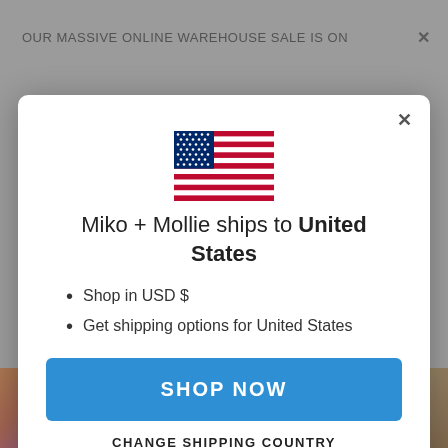OUR MASSIVE ONLINE WAREHOUSE SALE IS ON
[Figure (screenshot): US flag icon displayed in modal dialog center]
Miko + Mollie ships to United States
Shop in USD $
Get shipping options for United States
SHOP NOW
CHANGE SHIPPING COUNTRY